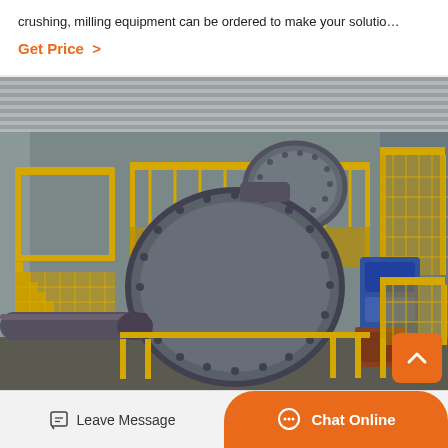crushing, milling equipment can be ordered to make your solutio…
Get Price  >
[Figure (photo): Industrial ball mill and grinding equipment inside a factory/warehouse. Large cylindrical ball mills with yellow steel walkways/staircases and railings. Heavy industrial machinery for mineral processing. Blue electric motors visible. Corrugated metal roof and walls.]
Leave Message
Chat Online